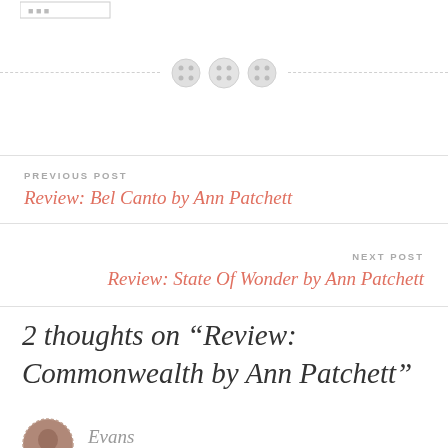[Figure (illustration): Three decorative button icons arranged horizontally with dashed divider lines extending left and right]
PREVIOUS POST
Review: Bel Canto by Ann Patchett
NEXT POST
Review: State Of Wonder by Ann Patchett
2 thoughts on “Review: Commonwealth by Ann Patchett”
Evans